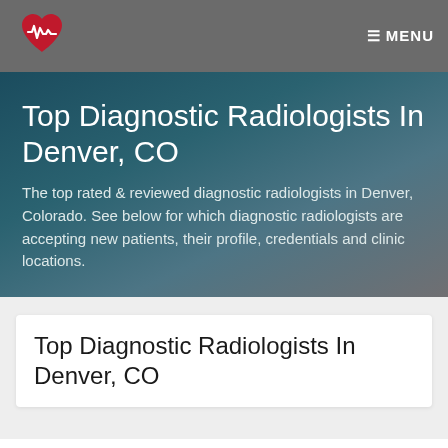☰ MENU
[Figure (logo): Red heart with white ECG/heartbeat line logo]
Top Diagnostic Radiologists In Denver, CO
The top rated & reviewed diagnostic radiologists in Denver, Colorado. See below for which diagnostic radiologists are accepting new patients, their profile, credentials and clinic locations.
Top Diagnostic Radiologists In Denver, CO